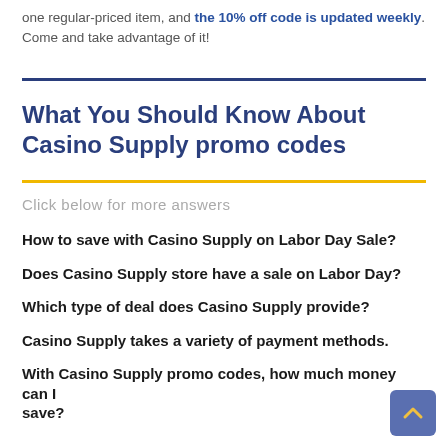one regular-priced item, and the 10% off code is updated weekly. Come and take advantage of it!
What You Should Know About Casino Supply promo codes
Click below for more answers
How to save with Casino Supply on Labor Day Sale?
Does Casino Supply store have a sale on Labor Day?
Which type of deal does Casino Supply provide?
Casino Supply takes a variety of payment methods.
With Casino Supply promo codes, how much money can I save?